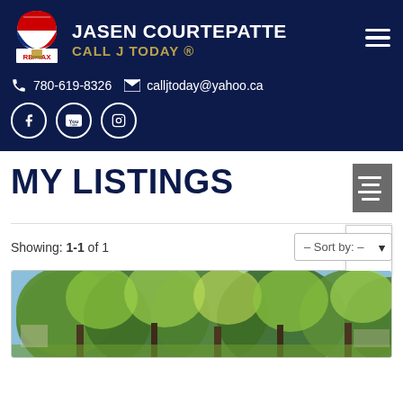JASEN COURTEPATTE CALL J TODAY® 780-619-8326 calljtoday@yahoo.ca
MY LISTINGS
Showing: 1-1 of 1
[Figure (photo): Property listing photo showing trees with green foliage in front of a house]